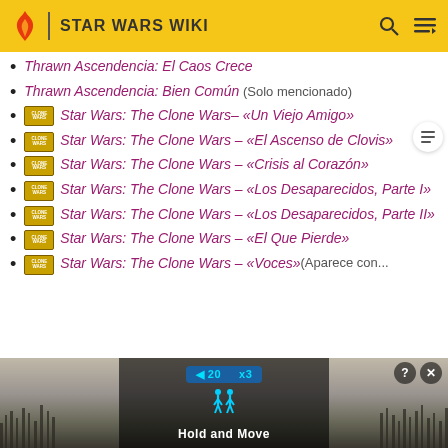STAR WARS WIKI
Thrawn Ascendencia: El Caos Crece
Thrawn Ascendencia: Bien Común (Solo mencionado)
[CLONE WARS] Star Wars: The Clone Wars – «Un Viejo Amigo»
[CLONE WARS] Star Wars: The Clone Wars – «El Ascenso de Clovis»
[CLONE WARS] Star Wars: The Clone Wars – «Crisis al Corazón»
[CLONE WARS] Star Wars: The Clone Wars – «Los Desaparecidos, Parte I»
[CLONE WARS] Star Wars: The Clone Wars – «Los Desaparecidos, Parte II»
[CLONE WARS] Star Wars: The Clone Wars – «El Que Pierde»
[CLONE WARS] Star Wars: The Clone Wars – «Voces» [Aparece con...
[Figure (screenshot): Advertisement banner at the bottom showing a mobile game 'Hold and Move' with score overlay, close and help buttons, over a winter outdoor scene.]